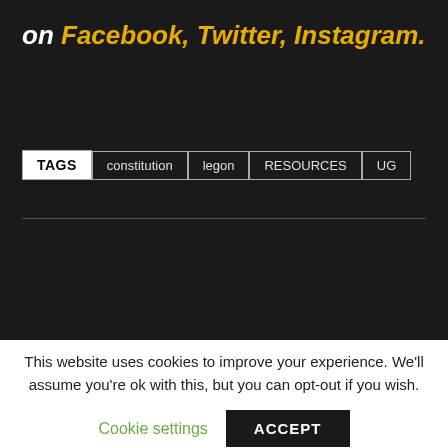on Facebook, Twitter, Instagram.
TAGS  constitution  legon  RESOURCES  UG
This website uses cookies to improve your experience. We'll assume you're ok with this, but you can opt-out if you wish.
Cookie settings  ACCEPT